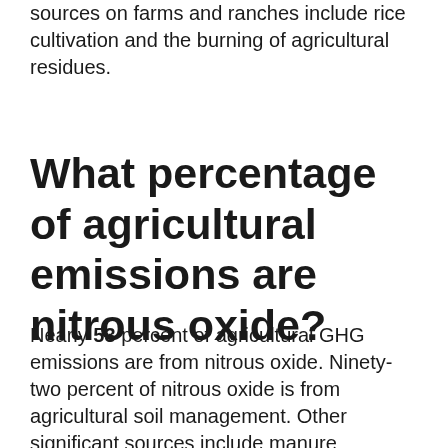sources on farms and ranches include rice cultivation and the burning of agricultural residues.
What percentage of agricultural emissions are nitrous oxide?
Nearly 53 percent of agricultural GHG emissions are from nitrous oxide. Ninety-two percent of nitrous oxide is from agricultural soil management. Other significant sources include manure management and the burning of agricultural residues.